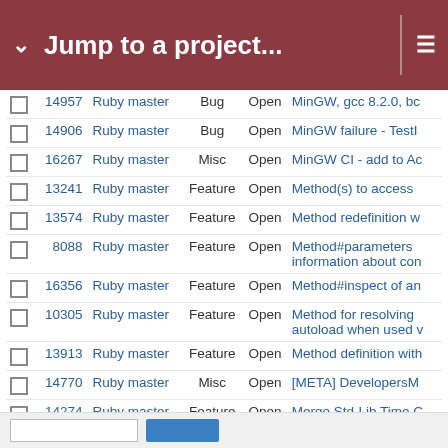Jump to a project...
|  | ID | Project | Type | Status | Description |
| --- | --- | --- | --- | --- | --- |
|  | 14957 | Ruby master | Bug | Open | MinGW, gcc 8.2.0, bc... |
|  | 14906 | Ruby master | Bug | Open | MinGW failure - TestI... |
|  | 16267 | Ruby master | Misc | Open | MinGW CI - add to Ac... |
|  | 13241 | Ruby master | Feature | Open | Method(s) to access... |
|  | 13574 | Ruby master | Feature | Open | Method redefinition w... |
|  | 8088 | Ruby master | Feature | Open | Method#parameters information about con... |
|  | 16356 | Ruby master | Feature | Open | Method#inspect of an... |
|  | 10305 | Ruby master | Feature | Open | Method for resolving autoload when used... |
|  | 13913 | Ruby master | Feature | Open | Method definition with... |
|  | 14770 | Ruby master | Misc | Open | [META] DevelopersM... |
|  | 14274 | Ruby master | Feature | Open | Merge Std-Lib Time C... |
|  | 18668 | Ruby master | Feature | Open | Merge `io-nonblock` g... |
|  | 17140 | Ruby master | Feature | Open | Merge Enumerable#g... |
|  | 10255 | Ruby master | Feature | Open | Math.log: check dom... |
|  | 11817 | Ruby master | Feature | Open | map.parallel |
|  | 17097 | Ruby master | Feature | Open | `map_min`, `map_ma... |